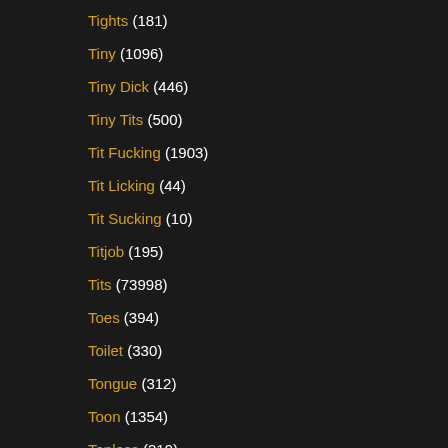Tights (181)
Tiny (1096)
Tiny Dick (446)
Tiny Tits (500)
Tit Fucking (1903)
Tit Licking (44)
Tit Sucking (10)
Titjob (195)
Tits (73998)
Toes (394)
Toilet (330)
Tongue (312)
Toon (1354)
Topless (319)
Tourist (127)
Toys (14132)